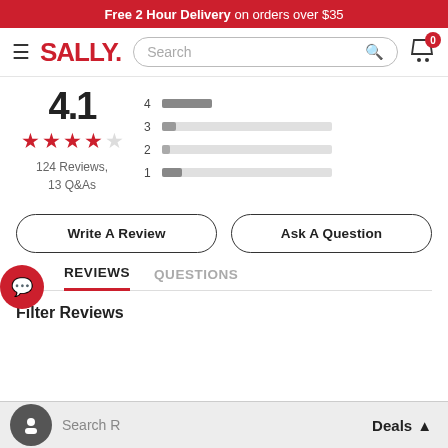Free 2 Hour Delivery on orders over $35
[Figure (screenshot): Sally Beauty website navigation bar with hamburger menu, Sally logo, search bar, and cart icon with 0 badge]
4.1 ★★★★☆ 124 Reviews, 13 Q&As
[Figure (bar-chart): Rating distribution]
Write A Review
Ask A Question
REVIEWS   QUESTIONS
Filter Reviews
Search R…
Deals ▲